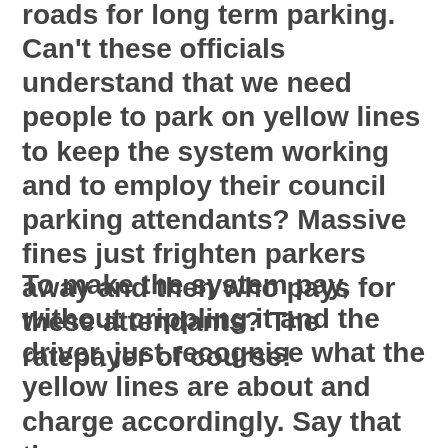roads for long term parking. Can't these officials understand that we need people to park on yellow lines to keep the system working and to employ their council parking attendants? Massive fines just frighten parkers away and then who pays for these attendants? The ratepayer of course!
To make the system pay, without crippling it and the driver, just recognise what the yellow lines are about and charge accordingly. Say that th...